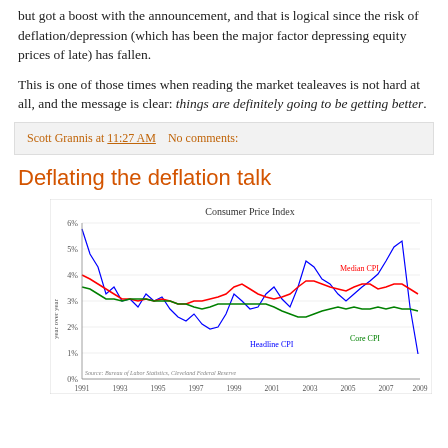but got a boost with the announcement, and that is logical since the risk of deflation/depression (which has been the major factor depressing equity prices of late) has fallen.
This is one of those times when reading the market tealeaves is not hard at all, and the message is clear: things are definitely going to be getting better.
Scott Grannis at 11:27 AM   No comments:
Deflating the deflation talk
[Figure (line-chart): Line chart showing Consumer Price Index from 1991 to 2009 with three lines: Headline CPI (blue), Median CPI (red), and Core CPI (green). Y-axis ranges from 0% to 6%. Values oscillate with Headline CPI most volatile, peaking near 6% in 1991 and 5.5% around 2008, dropping to ~1% by 2009. Median CPI and Core CPI are smoother ranging between 1%-4%.]